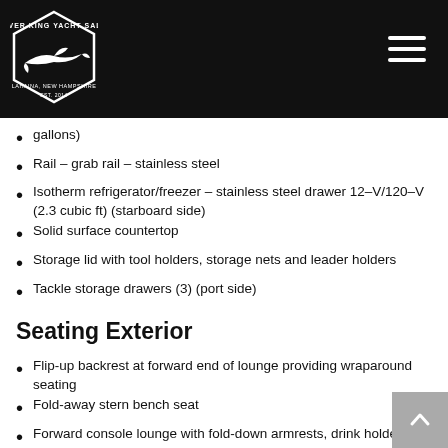[Figure (logo): Silver King Yacht Sales logo — hexagon shape with shark and text on black background]
gallons)
Rail – grab rail – stainless steel
Isotherm refrigerator/freezer – stainless steel drawer 12–V/120–V (2.3 cubic ft) (starboard side)
Solid surface countertop
Storage lid with tool holders, storage nets and leader holders
Tackle storage drawers (3) (port side)
Seating Exterior
Flip-up backrest at forward end of lounge providing wraparound seating
Fold-away stern bench seat
Forward console lounge with fold-down armrests, drink holders (4), backrests and removable cushions